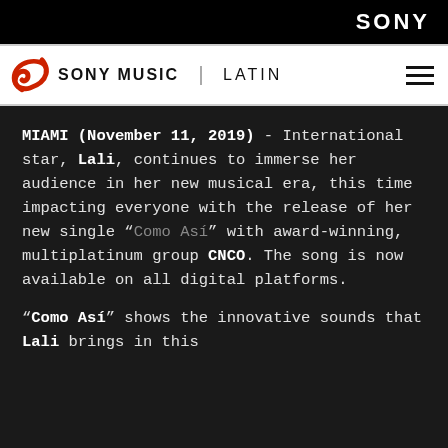SONY
[Figure (logo): Sony Music Latin logo with red swirl icon, brand text SONY MUSIC and LATIN, and hamburger menu icon]
MIAMI (November 11, 2019) - International star, Lali, continues to immerse her audience in her new musical era, this time impacting everyone with the release of her new single “Como Así” with award-winning, multiplatinum group CNCO. The song is now available on all digital platforms.
“Como Así” shows the innovative sounds that Lali brings in this